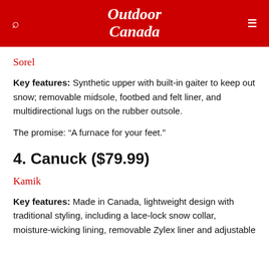Outdoor Canada
Sorel
Key features: Synthetic upper with built-in gaiter to keep out snow; removable midsole, footbed and felt liner, and multidirectional lugs on the rubber outsole.
The promise: “A furnace for your feet.”
4. Canuck ($79.99)
Kamik
Key features: Made in Canada, lightweight design with traditional styling, including a lace-lock snow collar, moisture-wicking lining, removable Zylex liner and adjustable